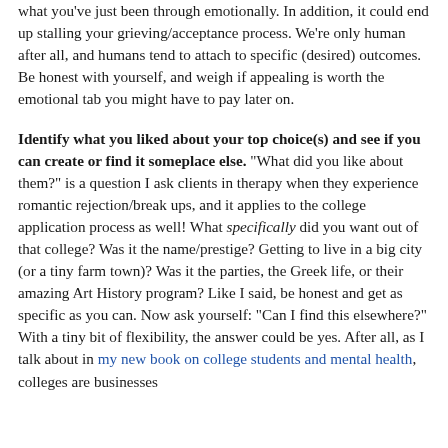what you've just been through emotionally. In addition, it could end up stalling your grieving/acceptance process. We're only human after all, and humans tend to attach to specific (desired) outcomes. Be honest with yourself, and weigh if appealing is worth the emotional tab you might have to pay later on.
Identify what you liked about your top choice(s) and see if you can create or find it someplace else. "What did you like about them?" is a question I ask clients in therapy when they experience romantic rejection/break ups, and it applies to the college application process as well! What specifically did you want out of that college? Was it the name/prestige? Getting to live in a big city (or a tiny farm town)? Was it the parties, the Greek life, or their amazing Art History program? Like I said, be honest and get as specific as you can. Now ask yourself: "Can I find this elsewhere?" With a tiny bit of flexibility, the answer could be yes. After all, as I talk about in my new book on college students and mental health, colleges are businesses